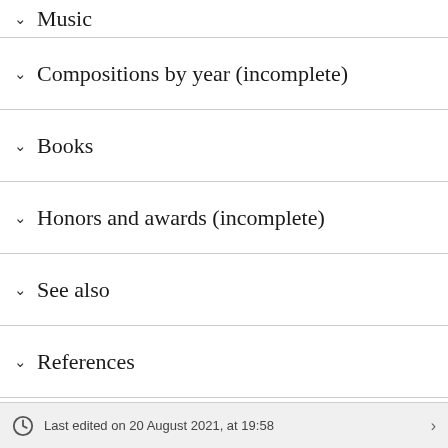Music
Compositions by year (incomplete)
Books
Honors and awards (incomplete)
See also
References
Last edited on 20 August 2021, at 19:58